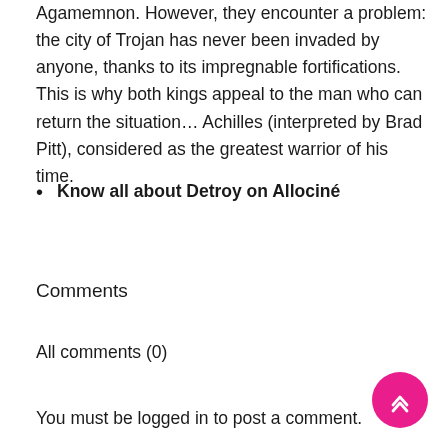Agamemnon. However, they encounter a problem: the city of Trojan has never been invaded by anyone, thanks to its impregnable fortifications. This is why both kings appeal to the man who can return the situation… Achilles (interpreted by Brad Pitt), considered as the greatest warrior of his time.
Know all about Detroy on Allociné
Comments
All comments (0)
You must be logged in to post a comment.